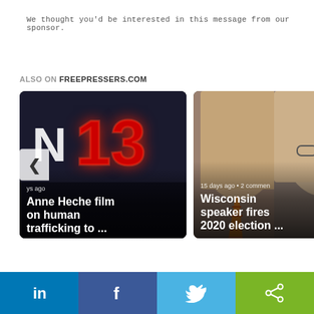We thought you'd be interested in this message from our sponsor.
ALSO ON FREEPRESSERS.COM
[Figure (screenshot): News article card: image showing number 13 in red neon on dark background. Caption says 'Anne Heche film on human trafficking to ...' with timestamp '...ys ago']
[Figure (screenshot): News article card: image showing two men's faces, a man and older man with glasses. Caption says 'Wisconsin speaker fires 2020 election ...' with timestamp '15 days ago • 2 comments']
[Figure (infographic): Social sharing bar at bottom with LinkedIn, Facebook, Twitter and share buttons]